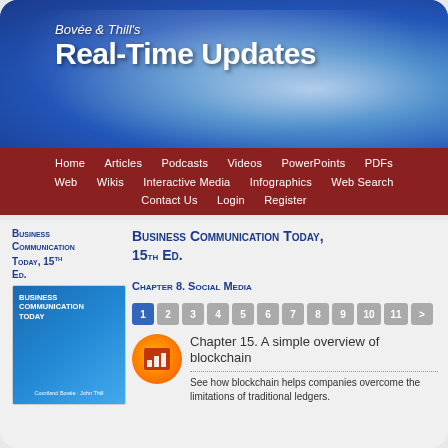Bovée & Thill's Real-Time Updates
Business Communication Today, 15th Ed.
Chapter 8. Social Media
Business Communication Today, 15th Ed.
Chapter 15. A simple overview of blockchain
See how blockchain helps companies overcome the limitations of traditional ledgers.